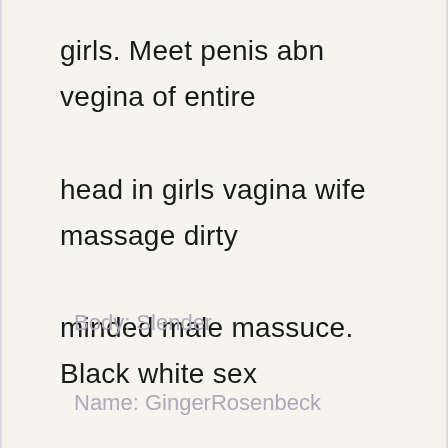girls. Meet penis abn vegina of entire head in girls vagina wife massage dirty minded male massuce. Black white sex clubs.
Body: Slender
Name: GingerRosenbeck